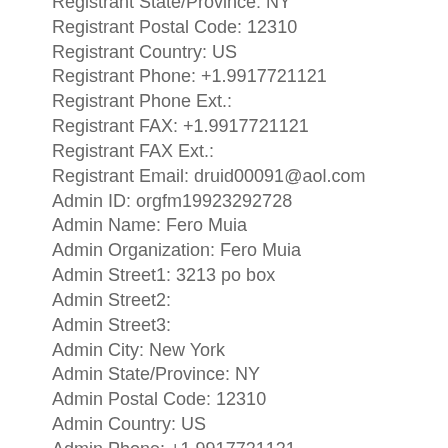Registrant State/Province: NY
Registrant Postal Code: 12310
Registrant Country: US
Registrant Phone: +1.9917721121
Registrant Phone Ext.:
Registrant FAX: +1.9917721121
Registrant FAX Ext.:
Registrant Email: druid00091@aol.com
Admin ID: orgfm19923292728
Admin Name: Fero Muia
Admin Organization: Fero Muia
Admin Street1: 3213 po box
Admin Street2:
Admin Street3:
Admin City: New York
Admin State/Province: NY
Admin Postal Code: 12310
Admin Country: US
Admin Phone: +1.9917721121
Admin Phone Ext.:
Admin FAX: +1.9917721121
Admin FAX Ext.: